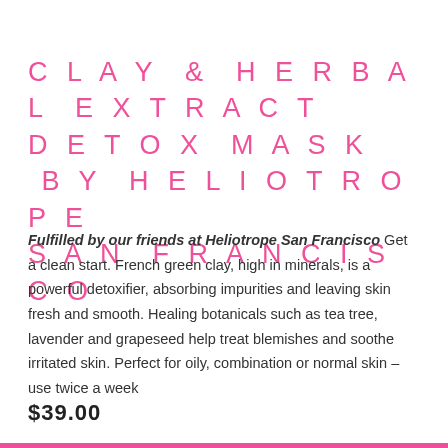CLAY & HERBAL EXTRACT DETOX MASK BY HELIOTROPE SAN FRANCISCO
Fulfilled by our friends at Heliotrope San Francisco Get a clean start. French green clay, high in minerals, is a powerful detoxifier, absorbing impurities and leaving skin fresh and smooth. Healing botanicals such as tea tree, lavender and grapeseed help treat blemishes and soothe irritated skin. Perfect for oily, combination or normal skin – use twice a week
$39.00